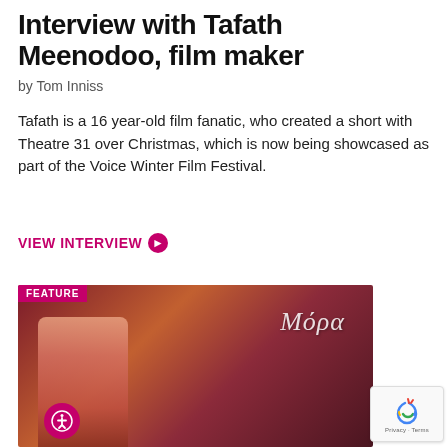Interview with Tafath Meenodoo, film maker
by Tom Inniss
Tafath is a 16 year-old film fanatic, who created a short with Theatre 31 over Christmas, which is now being showcased as part of the Voice Winter Film Festival.
VIEW INTERVIEW ➔
[Figure (photo): Photo of a young woman in a reddish-lit indoor setting with text overlay reading 'Μόρα' (Mora) and a FEATURE badge in the top left corner.]